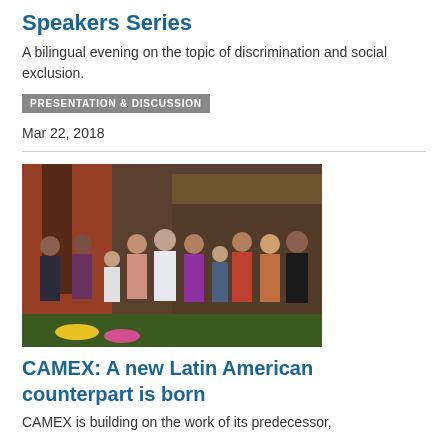Speakers Series
A bilingual evening on the topic of discrimination and social exclusion.
PRESENTATION & DISCUSSION
Mar 22, 2018
[Figure (photo): Group photo of approximately 11 people standing together outdoors at an evening event, some wearing traditional Guatemalan clothing]
CAMEX: A new Latin American counterpart is born
CAMEX is building on the work of its predecessor,